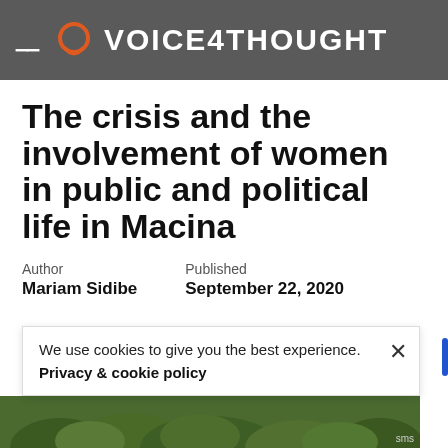VOICE4THOUGHT
The crisis and the involvement of women in public and political life in Macina
Author
Mariam Sidibe
Published
September 22, 2020
We use cookies to give you the best experience.
Privacy & cookie policy
[Figure (photo): Trees/outdoor scene at the bottom of the page]